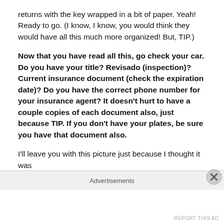returns with the key wrapped in a bit of paper. Yeah! Ready to go. (I know, I know, you would think they would have all this much more organized! But, TIP.)
Now that you have read all this, go check your car. Do you have your title? Revisado (inspection)? Current insurance document (check the expiration date)? Do you have the correct phone number for your insurance agent? It doesn't hurt to have a couple copies of each document also, just because TIP. If you don't have your plates, be sure you have that document also.
I'll leave you with this picture just because I thought it was
Advertisements